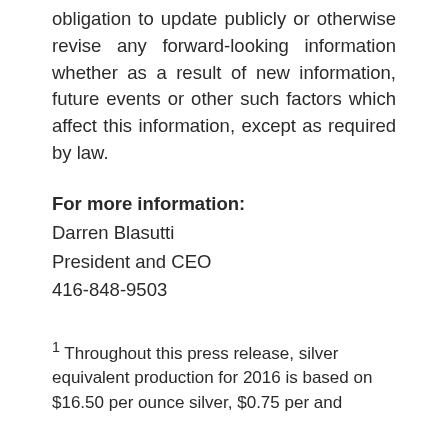obligation to update publicly or otherwise revise any forward-looking information whether as a result of new information, future events or other such factors which affect this information, except as required by law.
For more information:
Darren Blasutti
President and CEO
416-848-9503
1 Throughout this press release, silver equivalent production for 2016 is based on $16.50 ... silver, $0.75 ... and